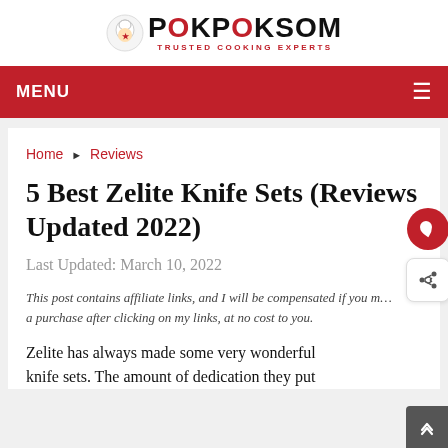POKPOKSOM - TRUSTED COOKING EXPERTS
MENU
Home ▶ Reviews
5 Best Zelite Knife Sets (Reviews Updated 2022)
Last Updated: March 10, 2022
This post contains affiliate links, and I will be compensated if you make a purchase after clicking on my links, at no cost to you.
Zelite has always made some very wonderful knife sets. The amount of dedication they put